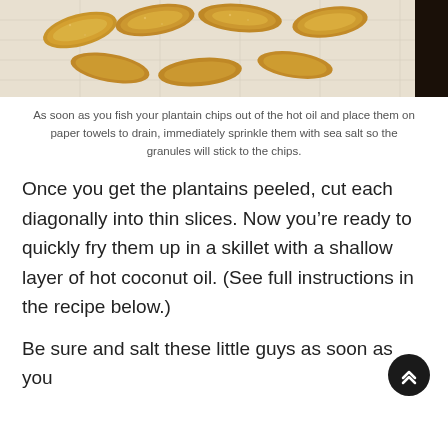[Figure (photo): Fried plantain chips draining on white paper towels, golden-brown in color, with a dark object visible at the right edge.]
As soon as you fish your plantain chips out of the hot oil and place them on paper towels to drain, immediately sprinkle them with sea salt so the granules will stick to the chips.
Once you get the plantains peeled, cut each diagonally into thin slices. Now you’re ready to quickly fry them up in a skillet with a shallow layer of hot coconut oil. (See full instructions in the recipe below.)
Be sure and salt these little guys as soon as you